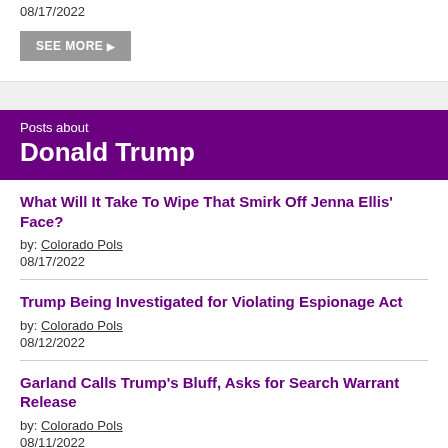08/17/2022
SEE MORE
Posts about Donald Trump
What Will It Take To Wipe That Smirk Off Jenna Ellis' Face?
by: Colorado Pols
08/17/2022
Trump Being Investigated for Violating Espionage Act
by: Colorado Pols
08/12/2022
Garland Calls Trump's Bluff, Asks for Search Warrant Release
by: Colorado Pols
08/11/2022